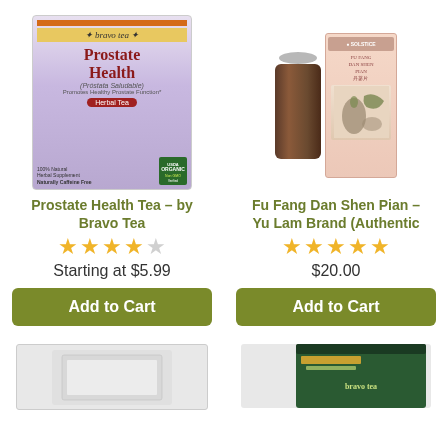[Figure (photo): Bravo Tea Prostate Health herbal tea box, purple and white design with orange strip]
[Figure (photo): Fu Fang Dan Shen Pian supplement - Yu Lam Brand, showing a bottle and a box with pink/peach coloring and Chinese text]
Prostate Health Tea – by Bravo Tea
Fu Fang Dan Shen Pian – Yu Lam Brand (Authentic
★★★★☆
★★★★★
Starting at $5.99
$20.00
Add to Cart
Add to Cart
[Figure (photo): Partial product image visible at bottom left, appears to be a white/grey box]
[Figure (photo): Partial product image visible at bottom right, appears to be a dark green/teal tea box]